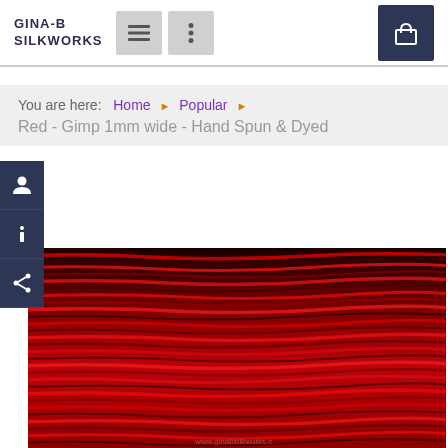GINA-B SILKWORKS — navigation header with menu buttons and cart
You are here: Home ▶ Popular ▶ Red - Gimp 1mm wide - Hand Spun & Dyed
[Figure (photo): Close-up macro photograph of red silk gimp thread, 1mm wide, hand spun and dyed, showing multiple strands of red thread arranged horizontally with varying dark red tones]